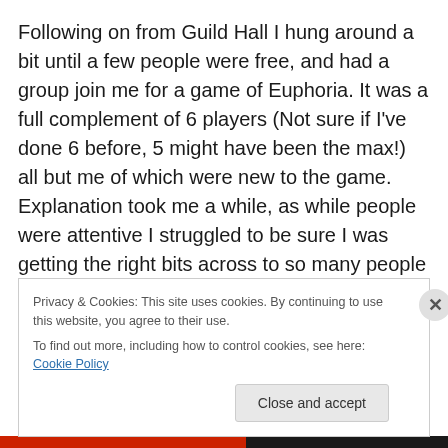Following on from Guild Hall I hung around a bit until a few people were free, and had a group join me for a game of Euphoria. It was a full complement of 6 players (Not sure if I've done 6 before, 5 might have been the max!) all but me of which were new to the game. Explanation took me a while, as while people were attentive I struggled to be sure I was getting the right bits across to so many people at once! The game was fun, as it always is, although downtime got quite painful on some turns as an unfortunate side effect of Tim (Event organiser) needing to
Privacy & Cookies: This site uses cookies. By continuing to use this website, you agree to their use.
To find out more, including how to control cookies, see here: Cookie Policy